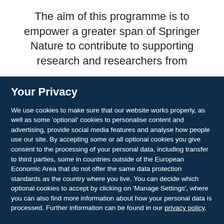The aim of this programme is to empower a greater span of Springer Nature to contribute to supporting research and researchers from
Your Privacy
We use cookies to make sure that our website works properly, as well as some 'optional' cookies to personalise content and advertising, provide social media features and analyse how people use our site. By accepting some or all optional cookies you give consent to the processing of your personal data, including transfer to third parties, some in countries outside of the European Economic Area that do not offer the same data protection standards as the country where you live. You can decide which optional cookies to accept by clicking on 'Manage Settings', where you can also find more information about how your personal data is processed. Further information can be found in our privacy policy.
Accept all cookies
Manage preferences